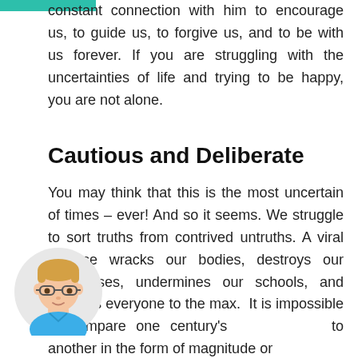…nges of each day, we see the need of a constant connection with him to encourage us, to guide us, to forgive us, and to be with us forever. If you are struggling with the uncertainties of life and trying to be happy, you are not alone.
Cautious and Deliberate
You may think that this is the most uncertain of times – ever! And so it seems. We struggle to sort truths from contrived untruths. A viral disease wracks our bodies, destroys our businesses, undermines our schools, and stresses everyone to the max. It is impossible to compare one century's to another in the form of magnitude or ndered; but let it suffice to say, this is not the best of times.
[Figure (illustration): Circular avatar illustration of a boy with glasses and blonde hair wearing a blue shirt, on a light gray background circle]